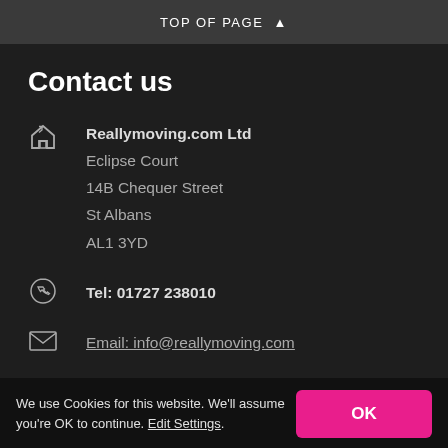TOP OF PAGE ▲
Contact us
Reallymoving.com Ltd
Eclipse Court
14B Chequer Street
St Albans
AL1 3YD
Tel: 01727 238010
Email: info@reallymoving.com
We use Cookies for this website. We'll assume you're OK to continue. Edit Settings.
OK
Get Quotes
Menu